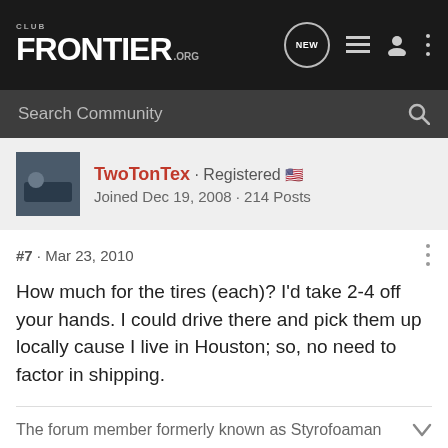CLUB FRONTIER .ORG
Search Community
TwoTonTex · Registered
Joined Dec 19, 2008 · 214 Posts
#7 · Mar 23, 2010
How much for the tires (each)? I'd take 2-4 off your hands. I could drive there and pick them up locally cause I live in Houston; so, no need to factor in shipping.
The forum member formerly known as Styrofoaman